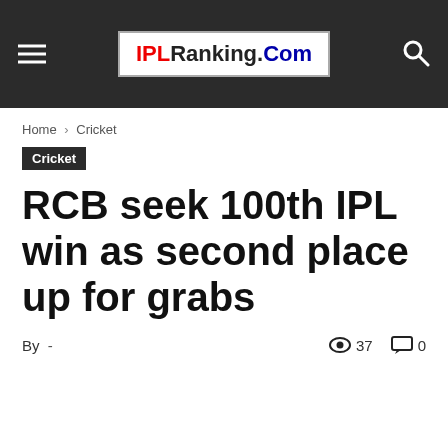IPLRanking.Com
Home › Cricket
Cricket
RCB seek 100th IPL win as second place up for grabs
By  -     37   0